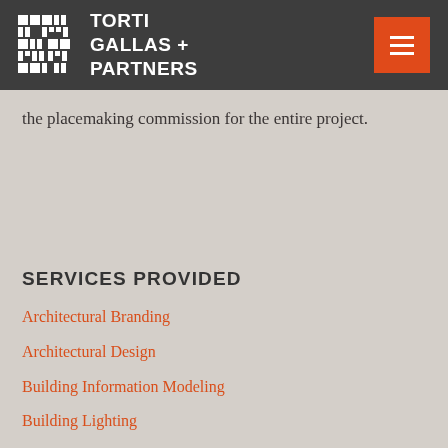TORTI GALLAS + PARTNERS
the placemaking commission for the entire project.
SERVICES PROVIDED
Architectural Branding
Architectural Design
Building Information Modeling
Building Lighting